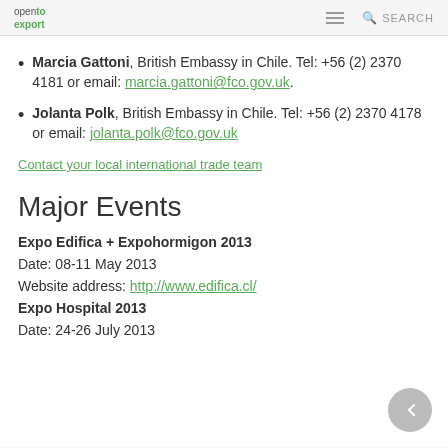open to export | SEARCH
Marcia Gattoni, British Embassy in Chile. Tel: +56 (2) 2370 4181 or email: marcia.gattoni@fco.gov.uk.
Jolanta Polk, British Embassy in Chile. Tel: +56 (2) 2370 4178 or email: jolanta.polk@fco.gov.uk
Contact your local international trade team
Major Events
Expo Edifica + Expohormigon 2013
Date: 08-11 May 2013
Website address: http://www.edifica.cl/
Expo Hospital 2013
Date: 24-26 July 2013